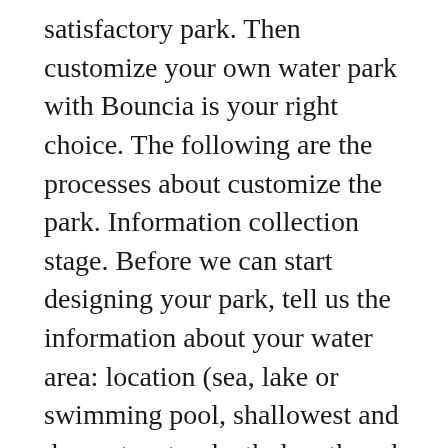satisfactory park. Then customize your own water park with Bouncia is your right choice. The following are the processes about customize the park. Information collection stage. Before we can start designing your park, tell us the information about your water area: location (sea, lake or swimming pool, shallowest and deepest water depth, length and width of the area that used for inflatable water park, expected capacity for each session. If possible, it’s better to indicate the water depth and dimension information on screenshot of google map so that our designers understand better about the project. See additional info at floating water park.